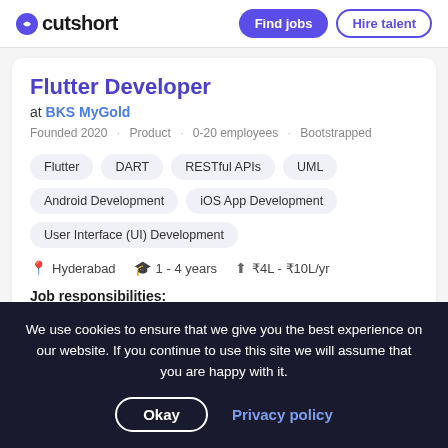cutshort | Find jobs | Hire talent
Flutter Developer
at BKS MyGold
Founded 2020 · Product · 0-20 employees · Bootstrapped
Flutter
DART
RESTful APIs
UML
Android Development
iOS App Development
User Interface (UI) Development
Hyderabad   1 - 4 years   ₹4L - ₹10L/yr
Job responsibilities:
Design and develop high-volume, low-latency
We use cookies to ensure that we give you the best experience on our website. If you continue to use this site we will assume that you are happy with it.
Okay   Privacy policy